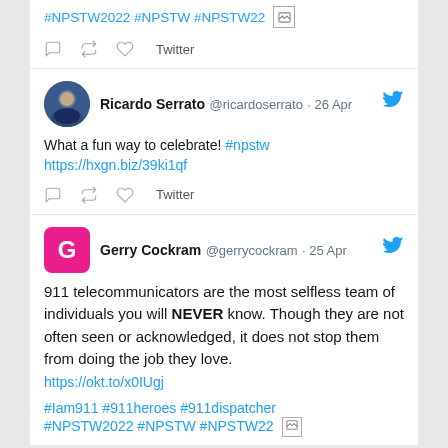#NPSTW2022 #NPSTW #NPSTW22
Twitter
Ricardo Serrato @ricardoserrato · 26 Apr
What a fun way to celebrate! #npstw https://hxgn.biz/39ki1qf
Twitter
Gerry Cockram @gerrycockram · 25 Apr
911 telecommunicators are the most selfless team of individuals you will NEVER know. Though they are not often seen or acknowledged, it does not stop them from doing the job they love. https://okt.to/x0IUgj
#Iam911 #911heroes #911dispatcher #NPSTW2022 #NPSTW #NPSTW22